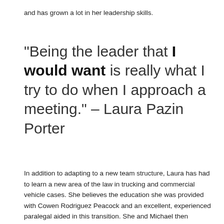and has grown a lot in her leadership skills.
“Being the leader that I would want is really what I try to do when I approach a meeting.” – Laura Pazin Porter
In addition to adapting to a new team structure, Laura has had to learn a new area of the law in trucking and commercial vehicle cases. She believes the education she was provided with Cowen Rodriguez Peacock and an excellent, experienced paralegal aided in this transition. She and Michael then discuss how regular lawyering